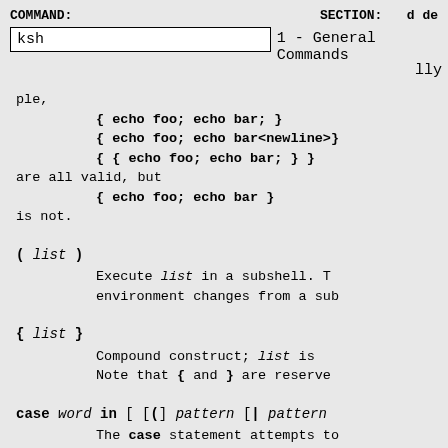COMMAND: ksh    SECTION: 1 - General Commands    d de     lly
ple,
        { echo foo; echo bar; }
        { echo foo; echo bar<newline>}
        { { echo foo; echo bar; } }
are all valid, but
        { echo foo; echo bar }
is not.
( list )
    Execute list in a subshell. T
    environment changes from a sub
{ list }
    Compound construct; list is
    Note that { and } are reserved
case word in [ [() pattern [| pattern
    The case statement attempts to
    patterns; the list associa
    matched pattern is executed.
    are the same as those used
    the restrictions regarding a